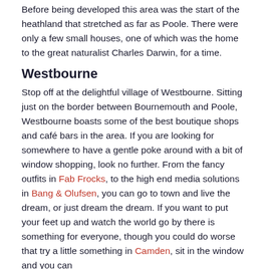Before being developed this area was the start of the heathland that stretched as far as Poole. There were only a few small houses, one of which was the home to the great naturalist Charles Darwin, for a time.
Westbourne
Stop off at the delightful village of Westbourne. Sitting just on the border between Bournemouth and Poole, Westbourne boasts some of the best boutique shops and café bars in the area. If you are looking for somewhere to have a gentle poke around with a bit of window shopping, look no further. From the fancy outfits in Fab Frocks, to the high end media solutions in Bang & Olufsen, you can go to town and live the dream, or just dream the dream. If you want to put your feet up and watch the world go by there is something for everyone, though you could do worse that try a little something in Camden, sit in the window and you can wait for ages but they all go in and out side. Carefully